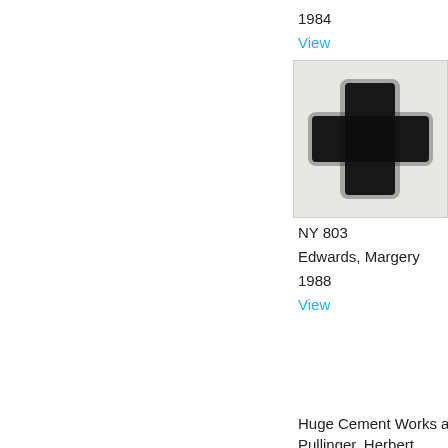1984
View
[Figure (photo): Black cross-shaped form on light background, artwork thumbnail]
NY 803
Edwards, Margery
1988
View
Huge Cement Works a
Pullinger, Herbert